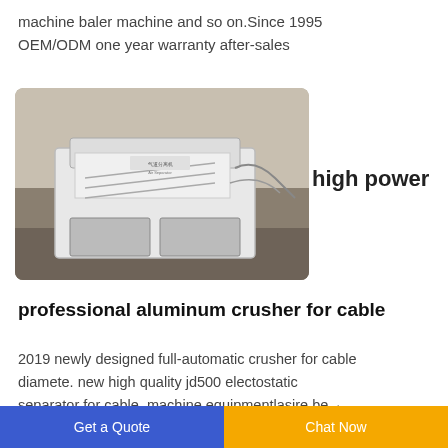machine baler machine and so on.Since 1995 OEM/ODM one year warranty after-sales
[Figure (photo): Industrial white air separator machine (气道分离机 / Air Separator) in a factory setting]
high power
professional aluminum crusher for cable
2019 newly designed full-automatic crusher for cable diamete. new high quality jd500 electostatic separator for cable. machine equipmentlasire.be. · high quality best selling copper wire for cabe wire
Get a Quote  Chat Now